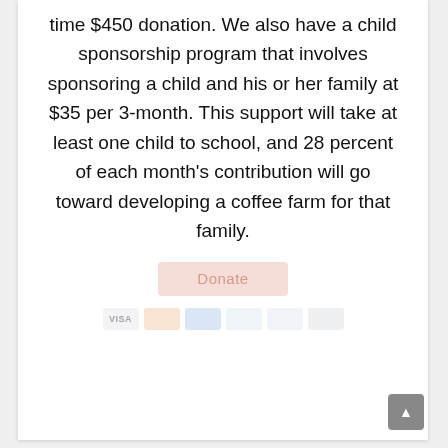time $450 donation. We also have a child sponsorship program that involves sponsoring a child and his or her family at $35 per 3-month. This support will take at least one child to school, and 28 percent of each month's contribution will go toward developing a coffee farm for that family.
[Figure (other): A faded 'Donate' button with payment method icons (Visa, Mastercard, Amex, Discover, PayPal, Apple Pay) shown in muted/transparent style]